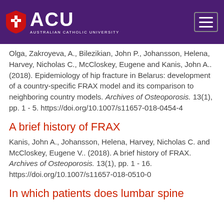[Figure (logo): ACU Australian Catholic University logo on purple header with hamburger menu icon]
Olga, Zakroyeva, A., Bilezikian, John P., Johansson, Helena, Harvey, Nicholas C., McCloskey, Eugene and Kanis, John A.. (2018). Epidemiology of hip fracture in Belarus: development of a country-specific FRAX model and its comparison to neighboring country models. Archives of Osteoporosis. 13(1), pp. 1 - 5. https://doi.org/10.1007/s11657-018-0454-4
A brief history of FRAX
Kanis, John A., Johansson, Helena, Harvey, Nicholas C. and McCloskey, Eugene V.. (2018). A brief history of FRAX. Archives of Osteoporosis. 13(1), pp. 1 - 16. https://doi.org/10.1007/s11657-018-0510-0
In which patients does lumbar spine